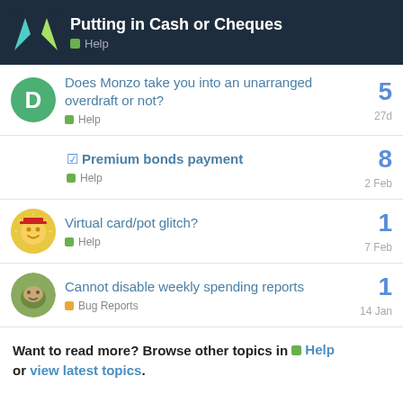Putting in Cash or Cheques — Help
Does Monzo take you into an unarranged overdraft or not? — Help — 5 replies — 27d
Premium bonds payment — Help — 8 replies — 2 Feb
Virtual card/pot glitch? — Help — 1 reply — 7 Feb
Cannot disable weekly spending reports — Bug Reports — 1 reply — 14 Jan
Want to read more? Browse other topics in Help or view latest topics.